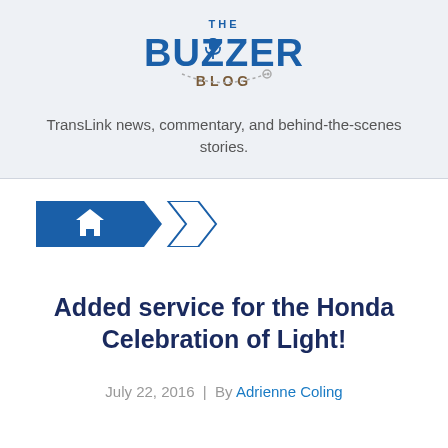[Figure (logo): The Buzzer Blog logo — bold blue text reading 'THE BUZZER BLOG' with a microphone icon]
TransLink news, commentary, and behind-the-scenes stories.
[Figure (infographic): Breadcrumb navigation with blue home icon arrow shape followed by an outline arrow chevron]
Added service for the Honda Celebration of Light!
July 22, 2016  |  By Adrienne Coling